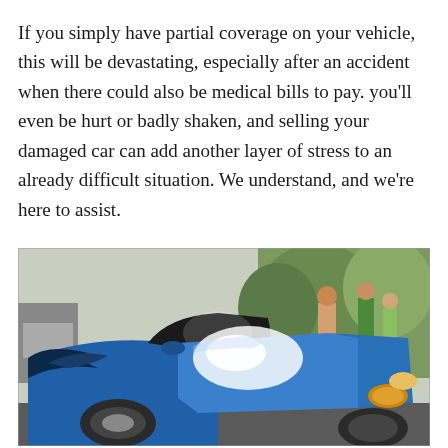If you simply have partial coverage on your vehicle, this will be devastating, especially after an accident when there could also be medical bills to pay. you'll even be hurt or badly shaken, and selling your damaged car can add another layer of stress to an already difficult situation. We understand, and we're here to assist.
[Figure (photo): Photo of a damaged blue Mazda Miata convertible after a car accident. The front hood is crumpled and dented. People are visible in the background.]